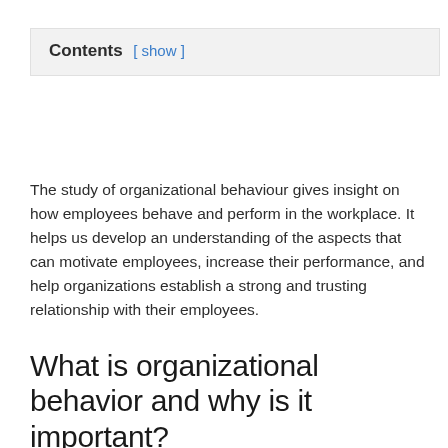| Contents [ show ] |
| --- |
The study of organizational behaviour gives insight on how employees behave and perform in the workplace. It helps us develop an understanding of the aspects that can motivate employees, increase their performance, and help organizations establish a strong and trusting relationship with their employees.
What is organizational behavior and why is it important?